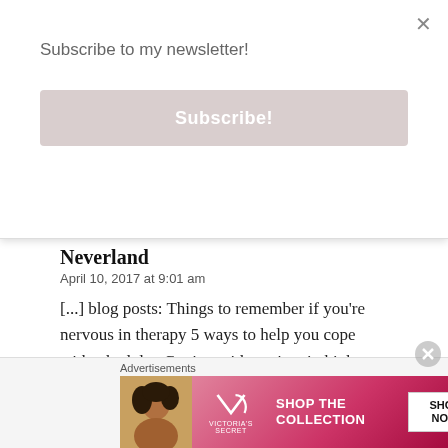Subscribe to my newsletter!
Subscribe!
Neverland
April 10, 2017 at 9:01 am
[...] blog posts: Things to remember if you're nervous in therapy 5 ways to help you cope with a bad day Coping with anxiety in high school Why it's important [...]
Loading...
REPLY
Advertisements
[Figure (screenshot): Victoria's Secret advertisement banner with model photo, VS logo, 'SHOP THE COLLECTION' text, and 'SHOP NOW' button]